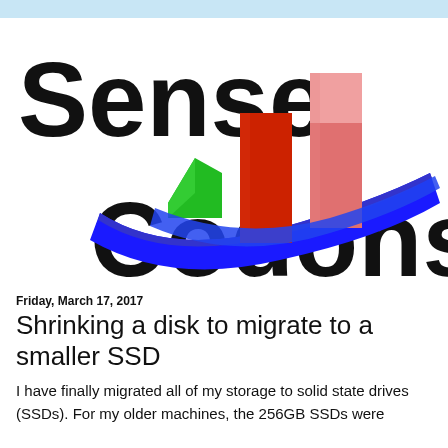[Figure (logo): Sense Codons logo with large bold text 'Sense' and 'Codons', and a bar chart graphic with green, red, pink bars and a blue swoosh ribbon]
Friday, March 17, 2017
Shrinking a disk to migrate to a smaller SSD
I have finally migrated all of my storage to solid state drives (SSDs). For my older machines, the 256GB SSDs were